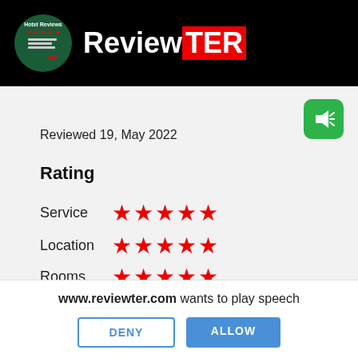ReviewTER
Reviewed 19, May 2022
Rating
Service ★★★★★
Location ★★★★★
Rooms ★★★★★
www.reviewter.com wants to play speech
DENY
ALLOW